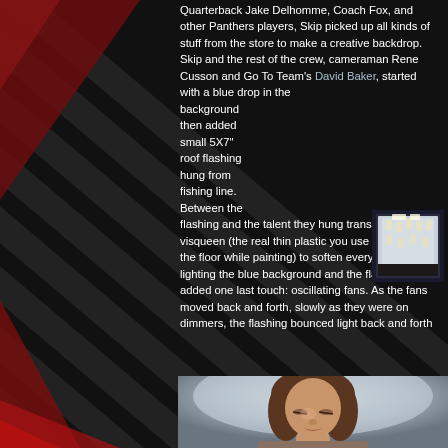Quarterback Jake Delhomme, Coach Fox, and other Panthers players, Skip picked up all kinds of stuff from the store to make a creative backdrop. Skip and the rest of the crew, cameraman Rene Cusson and Go To Team's David Baker, started with a blue drop in the background then added small 5X7" roof flashing hung from fishing line. Between the flashing and the talent they hung translucent visqueen (the real thin plastic you use to protect the floor while painting) to soften everything. After lighting the blue background and the flashing, Skip added one last touch: oscillating fans. As the fans moved back and forth, slowly as they were on dimmers, the flashing bounced light back and forth
[Figure (photo): Behind the scenes photo of a studio backdrop setup with silver/blue material hung with small rectangular pieces of roof flashing on fishing line, studio lights visible]
[Figure (photo): Portrait photo of a woman with brown hair looking downward against a soft light background]